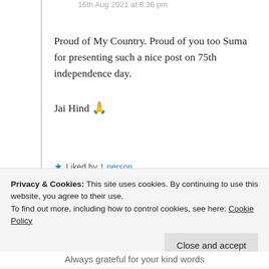16th Aug 2021 at 8:36 pm
Proud of My Country. Proud of you too Suma for presenting such a nice post on 75th independence day.
Jai Hind 🙏
★ Liked by 1 person
Log in to Reply
Privacy & Cookies: This site uses cookies. By continuing to use this website, you agree to their use.
To find out more, including how to control cookies, see here: Cookie Policy
Close and accept
Always grateful for your kind words